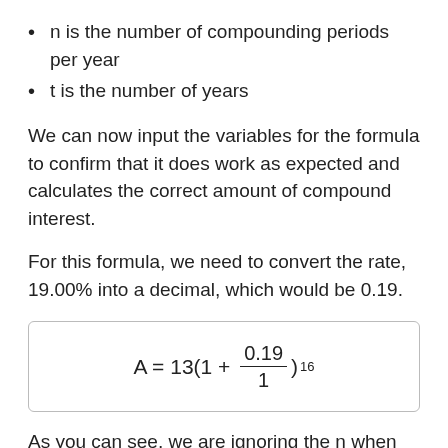n is the number of compounding periods per year
t is the number of years
We can now input the variables for the formula to confirm that it does work as expected and calculates the correct amount of compound interest.
For this formula, we need to convert the rate, 19.00% into a decimal, which would be 0.19.
As you can see, we are ignoring the n when calculating this to the power of 16 because our example is for annual compounding, or one